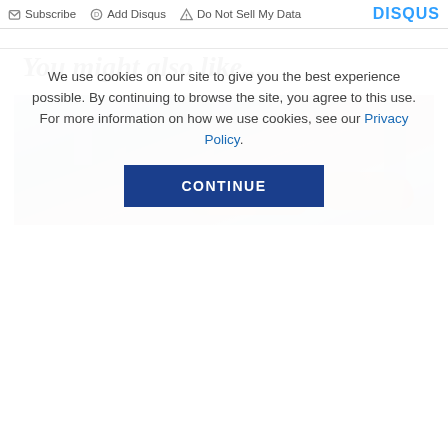Subscribe  Add Disqus  Do Not Sell My Data  DISQUS
You might also like...
[Figure (photo): Blurred photo showing two people's arms/hands reaching toward each other with a city building background]
We use cookies on our site to give you the best experience possible. By continuing to browse the site, you agree to this use. For more information on how we use cookies, see our Privacy Policy.
CONTINUE